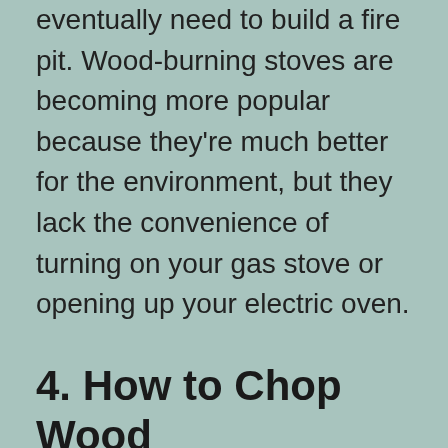eventually need to build a fire pit. Wood-burning stoves are becoming more popular because they're much better for the environment, but they lack the convenience of turning on your gas stove or opening up your electric oven.
4. How to Chop Wood
I love my gas stove, but sometimes I wish it was wood-burning.
Chopping your wood is a homesteading skill that not only gives you the energy and warmth of a fire but also saves you money. Think about